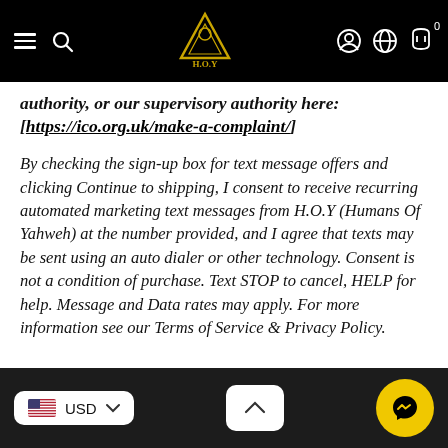H.O.Y navigation bar with logo, search, account, language, and cart icons
authority, or our supervisory authority here: [https://ico.org.uk/make-a-complaint/]
By checking the sign-up box for text message offers and clicking Continue to shipping, I consent to receive recurring automated marketing text messages from H.O.Y (Humans Of Yahweh) at the number provided, and I agree that texts may be sent using an auto dialer or other technology. Consent is not a condition of purchase. Text STOP to cancel, HELP for help. Message and Data rates may apply. For more information see our Terms of Service & Privacy Policy.
USD currency selector, scroll-to-top button, Messenger chat button